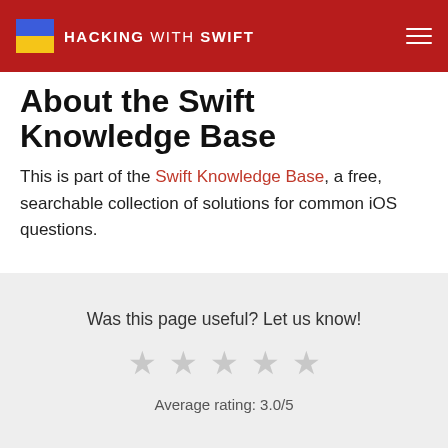HACKING WITH SWIFT
About the Swift Knowledge Base
This is part of the Swift Knowledge Base, a free, searchable collection of solutions for common iOS questions.
Was this page useful? Let us know!
Average rating: 3.0/5